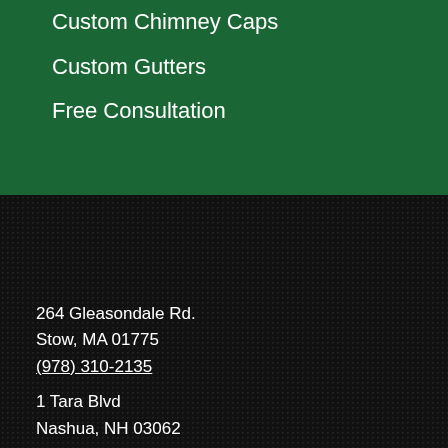Custom Chimney Caps
Custom Gutters
Free Consultation
264 Gleasondale Rd.
Stow, MA 01775
(978) 310-2135
1 Tara Blvd
Nashua, NH 03062